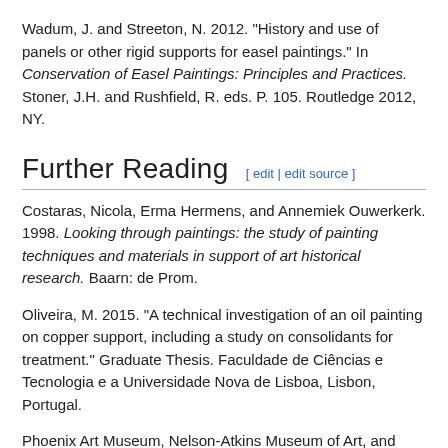Wadum, J. and Streeton, N. 2012. "History and use of panels or other rigid supports for easel paintings." In Conservation of Easel Paintings: Principles and Practices. Stoner, J.H. and Rushfield, R. eds. P. 105. Routledge 2012, NY.
Further Reading [ edit | edit source ]
Costaras, Nicola, Erma Hermens, and Annemiek Ouwerkerk. 1998. Looking through paintings: the study of painting techniques and materials in support of art historical research. Baarn: de Prom.
Oliveira, M. 2015. "A technical investigation of an oil painting on copper support, including a study on consolidants for treatment." Graduate Thesis. Faculdade de Ciências e Tecnologia e a Universidade Nova de Lisboa, Lisbon, Portugal.
Phoenix Art Museum, Nelson-Atkins Museum of Art, and Mauritshuis (Hague, Netherlands). 1999. Copper as canvas: two centuries of masterpiece paintings on copper, 1575-1775. New York: Oxford University Press.